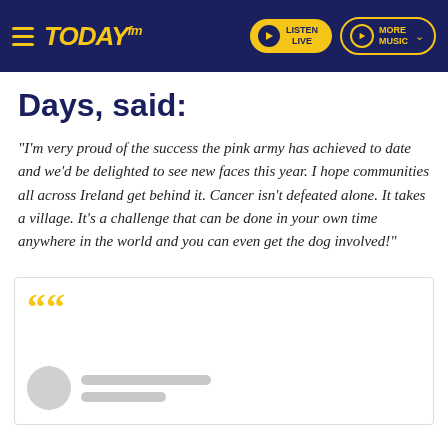Today FM — LISTEN LIVE | MORE MUSIC
Days, said:
"I'm very proud of the success the pink army has achieved to date and we'd be delighted to see new faces this year. I hope communities all across Ireland get behind it. Cancer isn't defeated alone. It takes a village. It's a challenge that can be done in your own time anywhere in the world and you can even get the dog involved!"
[Figure (other): Quote block with large yellow opening quotation marks and a blurred/redacted user avatar and name lines below]